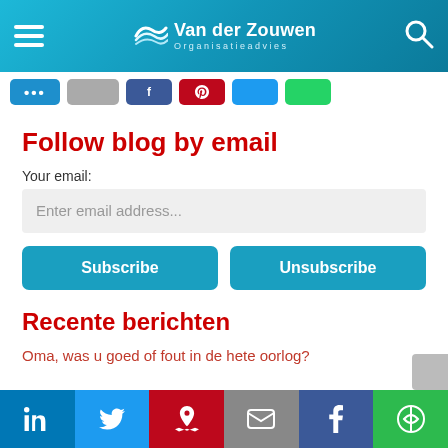Van der Zouwen Organisatieadvies
[Figure (screenshot): Row of social share buttons: more (...), grey, Facebook, Pinterest, Twitter, WhatsApp]
Follow blog by email
Your email:
Enter email address...
Subscribe | Unsubscribe
Recente berichten
Oma, was u goed of fout in de hete oorlog?
LinkedIn | Twitter | Pinterest | Email | Facebook | More